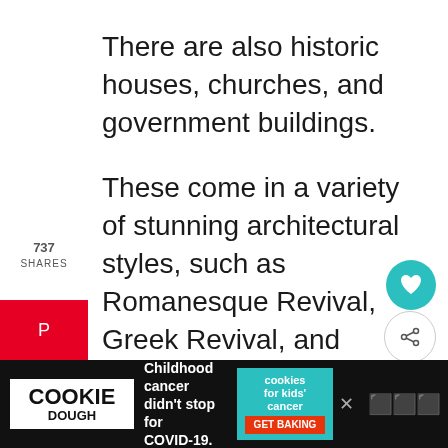There are also historic houses, churches, and government buildings.
These come in a variety of stunning architectural styles, such as Romanesque Revival, Greek Revival, and Federal.
The Augusta of today honors the Augusta of yesterday.
If you're looking for things to do in downtown Augusta, visit the Downtown Historic District.
[Figure (infographic): Social media share sidebar with Pinterest, Facebook, Twitter, Reddit, Email buttons showing 737 shares]
[Figure (infographic): Floating heart button with 859 count and share button on right side]
[Figure (infographic): Advertisement banner for Cookie Dough charity: Childhood cancer didn't stop for COVID-19. Cookies for kids cancer GET BAKING]